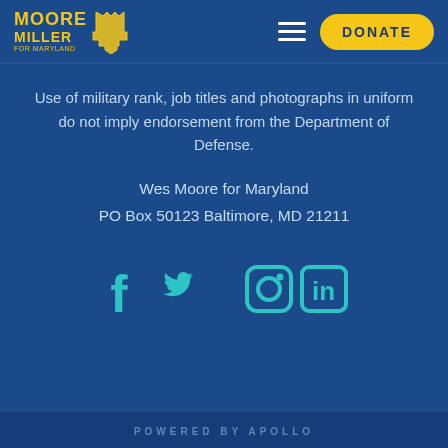Moore Miller for Maryland — DONATE
Use of military rank, job titles and photographs in uniform do not imply endorsement from the Department of Defense.
Wes Moore for Maryland
PO Box 50123 Baltimore, MD 21211
[Figure (infographic): Social media icons: Facebook, Twitter, Instagram, LinkedIn in teal/cyan color]
POWERED BY APOLLO